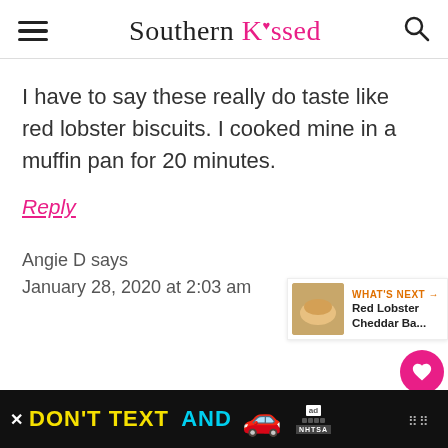Southern Kissed
I have to say these really do taste like red lobster biscuits. I cooked mine in a muffin pan for 20 minutes.
Reply
Angie D says
January 28, 2020 at 2:03 am
[Figure (screenshot): Floating social action buttons: heart icon (pink circle) with 43.1K count, and a share button below]
[Figure (infographic): WHAT'S NEXT arrow banner with thumbnail image and text Red Lobster Cheddar Ba...]
[Figure (screenshot): Ad banner: DON'T TEXT AND [car emoji] ad with NHTSA label and close button]